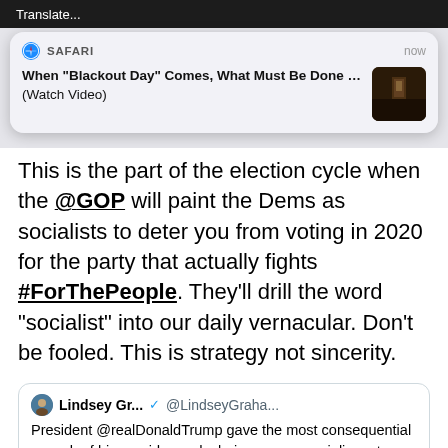[Figure (screenshot): Top dark header bar with 'Translate...' text]
[Figure (screenshot): Safari push notification card: 'When "Blackout Day" Comes, What Must Be Done ... (Watch Video)' with thumbnail image, time shown as 'now']
This is the part of the election cycle when the @GOP will paint the Dems as socialists to deter you from voting in 2020 for the party that actually fights #ForThePeople. They'll drill the word "socialist" into our daily vernacular. Don't be fooled. This is strategy not sincerity.
Lindsey Gr... @LindseyGraha...
President @realDonaldTrump gave the most consequential speech of his presidency declaring war on socialism at